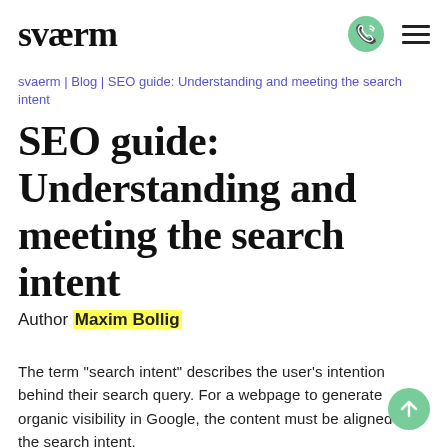sværm
svaerm | Blog | SEO guide: Understanding and meeting the search intent
SEO guide: Understanding and meeting the search intent
Author Maxim Bollig
The term “search intent” describes the user’s intention behind their search query. For a webpage to generate organic visibility in Google, the content must be aligned with the search intent.